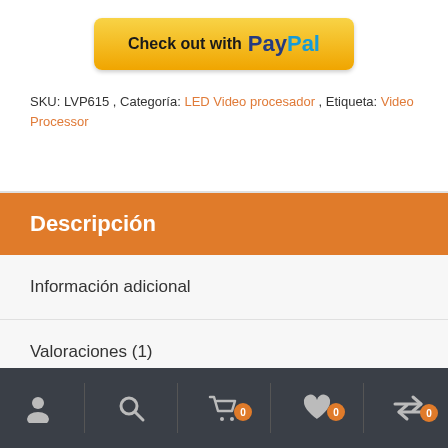[Figure (other): PayPal checkout button — yellow rounded rectangle with 'Check out with PayPal' text and logo]
SKU: LVP615 , Categoría: LED Video procesador , Etiqueta: Video Processor
Descripción
Información adicional
Valoraciones (1)
Navigation bar with user, search, cart (0), wishlist (0), and compare (0) icons